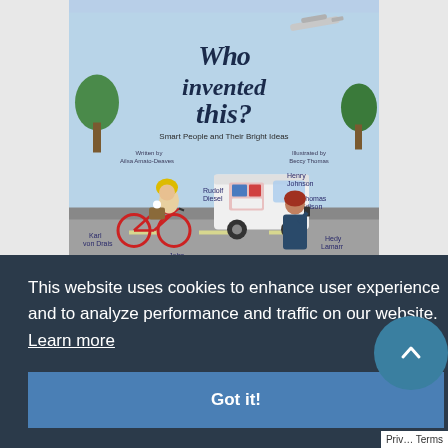[Figure (illustration): Book cover for 'Who invented this? Smart People and Their Bright Ideas'. Illustrated cover showing a street scene with a person riding a red bicycle wearing a yellow helmet, a white delivery van, a woman in blue overalls talking on a phone, trees, and various inventor names labeled: Rudolf Diesel, Henry Johnson, Thomas Edison, Karl von Drais, John Dunlop, Levi Strauss, Hedy Lamarr. Written by Ailsa Amato-Deaves, Illustrated by Becky Thomas.]
This website uses cookies to enhance user experience and to analyze performance and traffic on our website. Learn more
Got it!